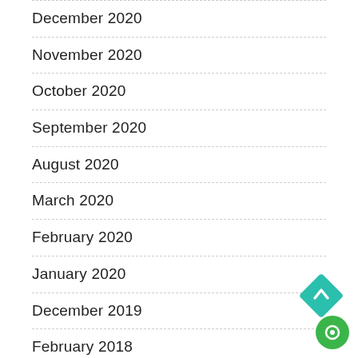December 2020
November 2020
October 2020
September 2020
August 2020
March 2020
February 2020
January 2020
December 2019
February 2018
[Figure (illustration): Teal diamond-shaped scroll-to-top button with upward chevron arrow, and a green circular chat button below it]